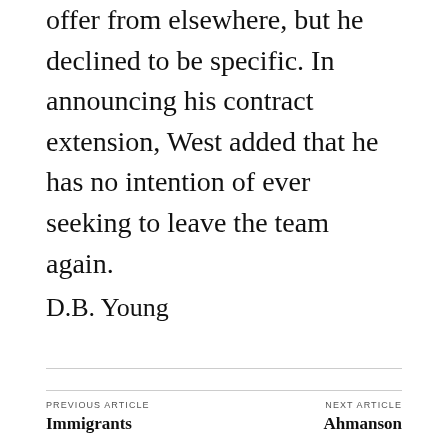offer from elsewhere, but he declined to be specific. In announcing his contract extension, West added that he has no intention of ever seeking to leave the team again.
D.B. Young
PREVIOUS ARTICLE
Immigrants
NEXT ARTICLE
Ahmanson